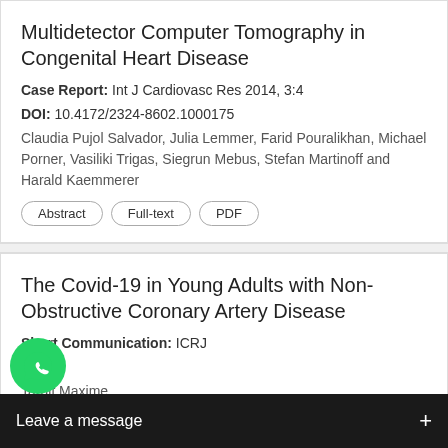Multidetector Computer Tomography in Congenital Heart Disease
Case Report: Int J Cardiovasc Res 2014, 3:4
DOI: 10.4172/2324-8602.1000175
Claudia Pujol Salvador, Julia Lemmer, Farid Pouralikhan, Michael Porner, Vasiliki Trigas, Siegrun Mebus, Stefan Martinoff and Harald Kaemmerer
Abstract | Full-text | PDF
The Covid-19 in Young Adults with Non-Obstructive Coronary Artery Disease
Short Communication: ICRJ
DOI:
Tardif Maxime
Abstract | Full-text | PDF
...ful Administration by Electrophysiologist vers... During Cardiac Res...